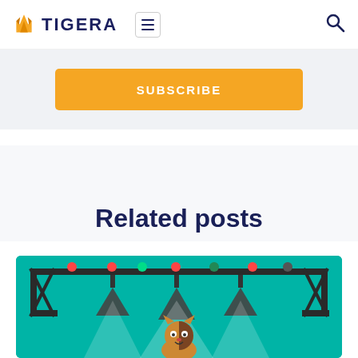TIGERA
SUBSCRIBE
Related posts
[Figure (illustration): Illustrated blog post thumbnail showing a cartoon cat/tiger character on a stage with spotlights and a truss structure with colored lights, on a teal/green background]